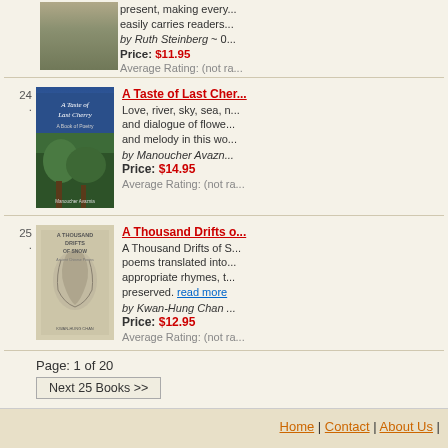[Figure (photo): Book cover partially visible at top, stone steps with plants]
present, making every... easily carries readers... by Ruth Steinberg ~ 0...
Price: $11.95
Average Rating: (not ra...
24.
[Figure (photo): Book cover: A Taste of Last Cherry - A Book of Poetry by Manoucher Avaznia, blue cover with landscape painting]
A Taste of Last Cherry
Love, river, sky, sea, n... and dialogue of flowe... and melody in this wo...
by Manoucher Avazn...
Price: $14.95
Average Rating: (not ra...
25.
[Figure (photo): Book cover: A Thousand Drifts of Snow - Ancient Chinese Poems, beige cover with tree illustration, by Kwan-Hung Chan]
A Thousand Drifts o...
A Thousand Drifts of S... poems translated into... appropriate rhymes, t... preserved. read more
by Kwan-Hung Chan ...
Price: $12.95
Average Rating: (not ra...
Page: 1 of 20
Next 25 Books >>
Home | Contact | About Us |